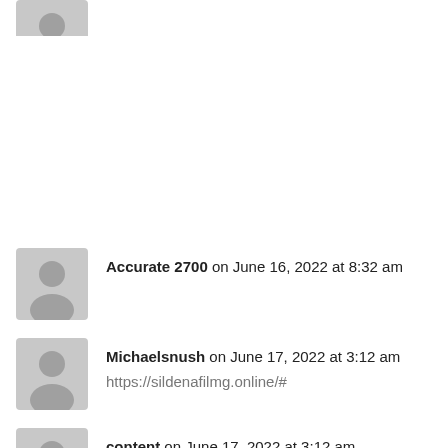[Figure (illustration): Gray placeholder avatar icon (partial, top-cropped) at top of page]
Accurate 2700 on June 16, 2022 at 8:32 am
[Figure (illustration): Gray placeholder avatar icon for Michaelsnush comment]
Michaelsnush on June 17, 2022 at 3:12 am
https://sildenafilmg.online/#
[Figure (illustration): Gray placeholder avatar icon for content comment]
content on June 17, 2022 at 3:12 am